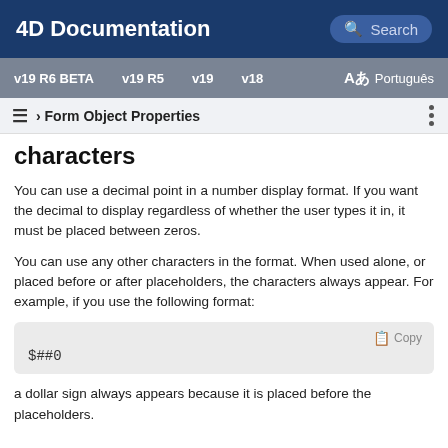4D Documentation
v19 R6 BETA  v19 R5  v19  v18  Aあ Português
≡ › Form Object Properties
characters
You can use a decimal point in a number display format. If you want the decimal to display regardless of whether the user types it in, it must be placed between zeros.
You can use any other characters in the format. When used alone, or placed before or after placeholders, the characters always appear. For example, if you use the following format:
$##0
a dollar sign always appears because it is placed before the placeholders.